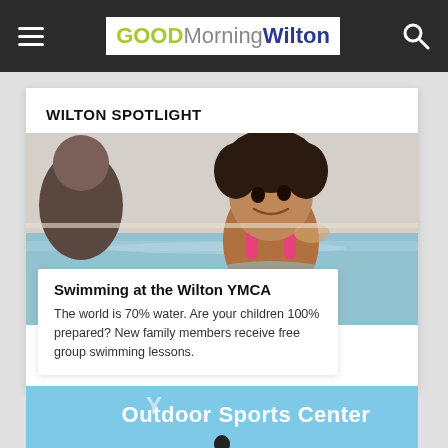Good Morning Wilton — navigation header with hamburger menu and search icon
WILTON SPOTLIGHT
[Figure (photo): A young Black girl in a pink swimsuit smiling near a swimming pool, with an adult partially visible on the left. YMCA swim lesson scene.]
Swimming at the Wilton YMCA
The world is 70% water. Are your children 100% prepared? New family members receive free group swimming lessons.
[Figure (photo): Outdoor Sports Center banner — light blue background with 'Y' logo and text 'Outdoor Sports Center' in white, with a dark figure silhouette at the bottom.]